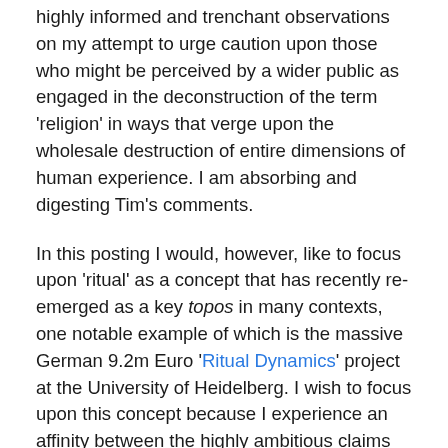highly informed and trenchant observations on my attempt to urge caution upon those who might be perceived by a wider public as engaged in the deconstruction of the term 'religion' in ways that verge upon the wholesale destruction of entire dimensions of human experience. I am absorbing and digesting Tim's comments.
In this posting I would, however, like to focus upon 'ritual' as a concept that has recently re-emerged as a key topos in many contexts, one notable example of which is the massive German 9.2m Euro 'Ritual Dynamics' project at the University of Heidelberg. I wish to focus upon this concept because I experience an affinity between the highly ambitious claims made for 'ritual' by the influential anthropologist Roy Rappaport in his ground-breaking book Ritual, Religion and the Making of Humanity (Cambridge University Press, 1989) and my own experience in the